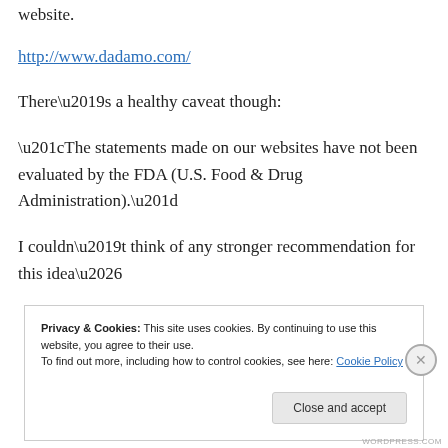website.
http://www.dadamo.com/
There’s a healthy caveat though:
“The statements made on our websites have not been evaluated by the FDA (U.S. Food & Drug Administration).”
I couldn’t think of any stronger recommendation for this idea…
Privacy & Cookies: This site uses cookies. By continuing to use this website, you agree to their use.
To find out more, including how to control cookies, see here: Cookie Policy
Close and accept